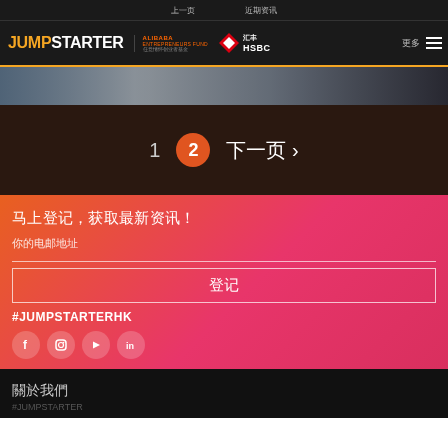上一页 | 近期资讯
[Figure (logo): JUMPSTARTER logo with ALIBABA ENTREPRENEURS FUND and HSBC logos]
[Figure (photo): Dark banner image strip]
1  2  下一页 >
马上登记，获取最新资讯！
你的电邮地址
登记
#JUMPSTARTERHK
[Figure (infographic): Social media icons: Facebook, Instagram, YouTube, LinkedIn]
關於我們
#JUMPSTARTER